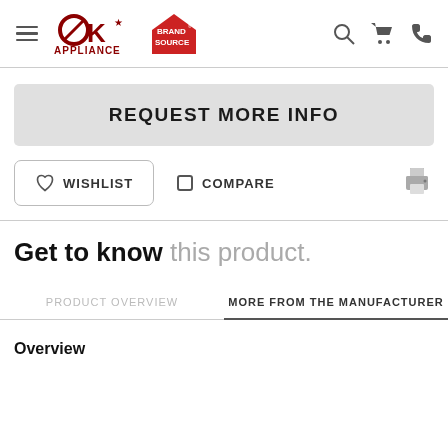OK Appliance / Brand Source navigation header with hamburger menu, logos, search, cart, and phone icons
REQUEST MORE INFO
WISHLIST   COMPARE
Get to know this product.
PRODUCT OVERVIEW   MORE FROM THE MANUFACTURER
Overview